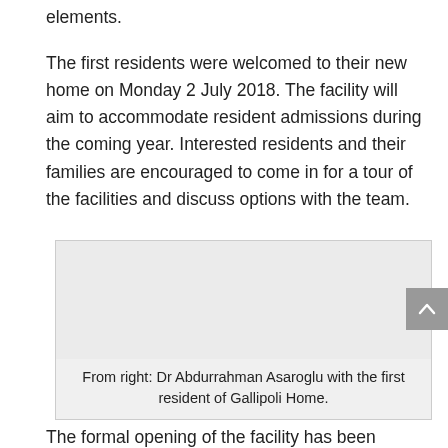elements.
The first residents were welcomed to their new home on Monday 2 July 2018. The facility will aim to accommodate resident admissions during the coming year. Interested residents and their families are encouraged to come in for a tour of the facilities and discuss options with the team.
[Figure (photo): Photo of Dr Abdurrahman Asaroglu with the first resident of Gallipoli Home (image area shown as grey placeholder).]
From right: Dr Abdurrahman Asaroglu with the first resident of Gallipoli Home.
The formal opening of the facility has been planned for the